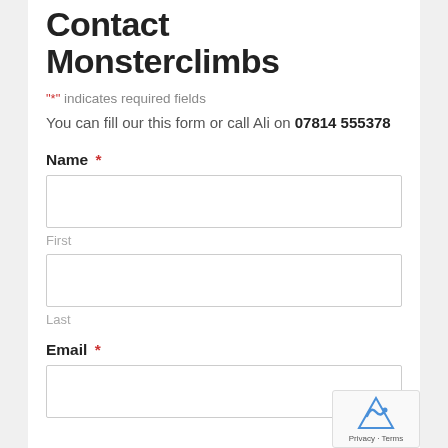Contact Monsterclimbs
"*" indicates required fields
You can fill our this form or call Ali on 07814 555378
Name *
First
Last
Email *